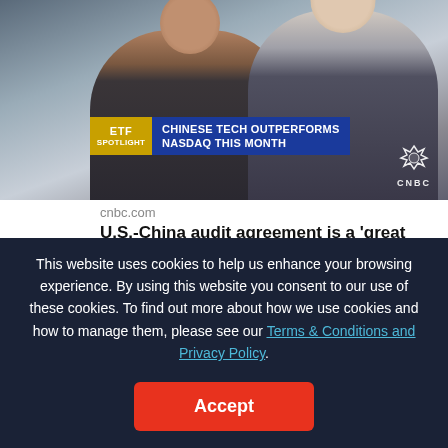[Figure (screenshot): CNBC TV screenshot showing two men in suits with chyron 'CHINESE TECH OUTPERFORMS NASDAQ THIS MONTH' and ETF Spotlight banner]
cnbc.com
U.S.-China audit agreement is a 'great first step,' says Kraneshares' Brendan Ahern
1 comment, 9 likes
This website uses cookies to help us enhance your browsing experience. By using this website you consent to our use of these cookies. To find out more about how we use cookies and how to manage them, please see our Terms & Conditions and Privacy Policy.
Accept